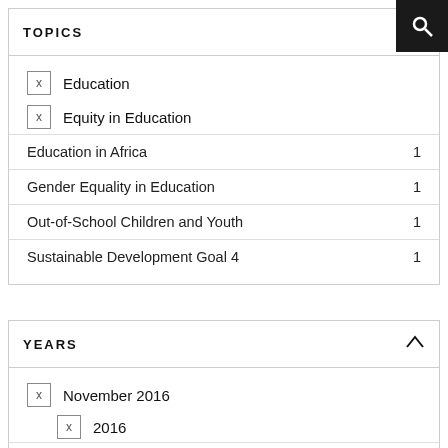TOPICS
Education
Equity in Education
Education in Africa  1
Gender Equality in Education  1
Out-of-School Children and Youth  1
Sustainable Development Goal 4  1
YEARS
November 2016
2016
November 17, 2016